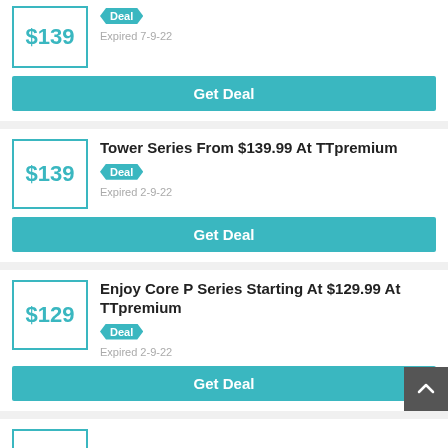$139
Deal
Expired 7-9-22
Get Deal
Tower Series From $139.99 At TTpremium
$139
Deal
Expired 2-9-22
Get Deal
Enjoy Core P Series Starting At $129.99 At TTpremium
$129
Deal
Expired 2-9-22
Get Deal